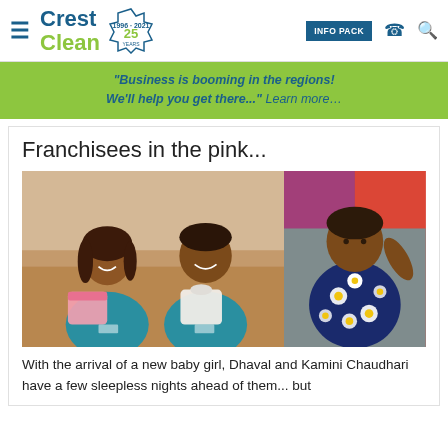CrestClean - 25 Years (1996-2021) - INFO PACK
"Business is booming in the regions! We'll help you get there..." Learn more…
Franchisees in the pink...
[Figure (photo): Left photo: Dhaval and Kamini Chaudhari sitting on a couch wearing teal CrestClean shirts, holding up pink and white baby clothes. Right photo: a baby girl in a navy blue floral dress lying down.]
With the arrival of a new baby girl, Dhaval and Kamini Chaudhari have a few sleepless nights ahead of them... but